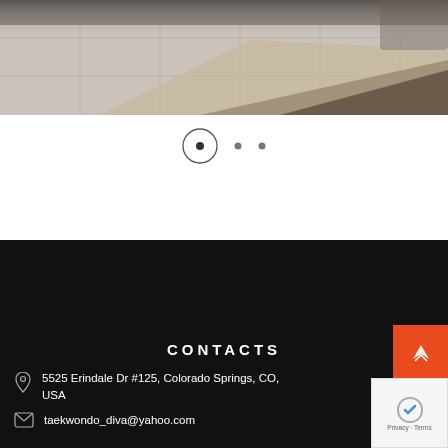[Figure (photo): Partial view of a modern interior room with tiled floor and area rug, carousel slider image]
[Figure (other): Carousel navigation dots: first dot in a circle (active), two smaller plain dots]
CONTACTS
5525 Erindale Dr #125, Colorado Springs, CO, USA
taekwondo_diva@yahoo.com